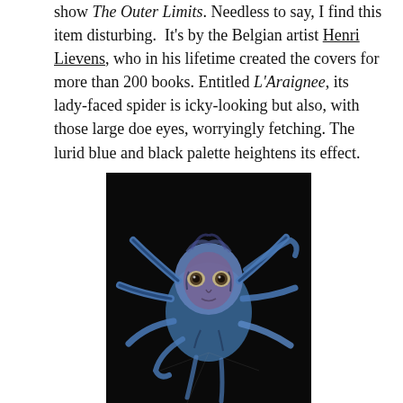show The Outer Limits. Needless to say, I find this item disturbing. It's by the Belgian artist Henri Lievens, who in his lifetime created the covers for more than 200 books. Entitled L'Araignee, its lady-faced spider is icky-looking but also, with those large doe eyes, worryingly fetching. The lurid blue and black palette heightens its effect.
[Figure (illustration): Book cover artwork by Henri Lievens titled L'Araignee, depicting a lady-faced spider with a human female face with large doe eyes, painted in lurid blue and purple tones against a black background.]